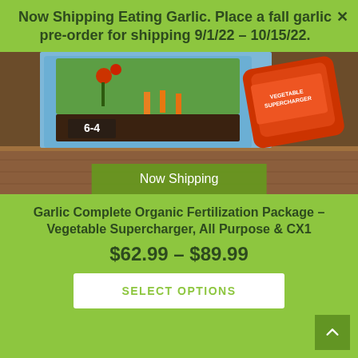Now Shipping Eating Garlic. Place a fall garlic pre-order for shipping 9/1/22 - 10/15/22.
[Figure (photo): Product photo showing garlic fertilizer bags and a container of Vegetable Supercharger on a wooden surface, with a 'Now Shipping' green banner overlay]
Garlic Complete Organic Fertilization Package – Vegetable Supercharger, All Purpose & CX1
$62.99 – $89.99
SELECT OPTIONS